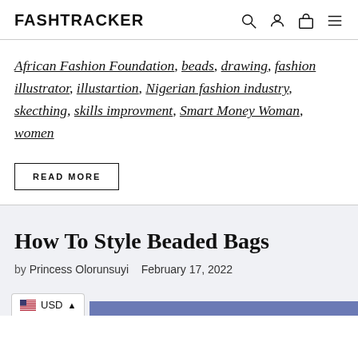FASHTRACKER
African Fashion Foundation, beads, drawing, fashion illustrator, illustartion, Nigerian fashion industry, skecthing, skills improvment, Smart Money Woman, women
READ MORE
How To Style Beaded Bags
by Princess Olorunsuyi   February 17, 2022
USD